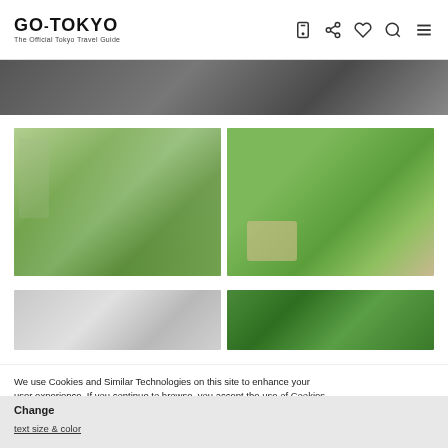GO-TOKYO The Official Tokyo Travel Guide
[Figure (photo): Dark textured top banner image, partial view of outdoor scene]
[Figure (photo): Outdoor park area with green lawn, trees, tables and people]
[Figure (photo): Cafe drinks on wooden table with dog and wooden stools on green grass]
[Figure (photo): White building exterior with string lights]
[Figure (photo): Green leafy foliage close-up]
We use Cookies and Similar Technologies on this site to enhance your user experience. If you continue to browse, you accept the use of Cookies and Similar Technologies on our site. See our Cookie for more information.
Change
text size & color